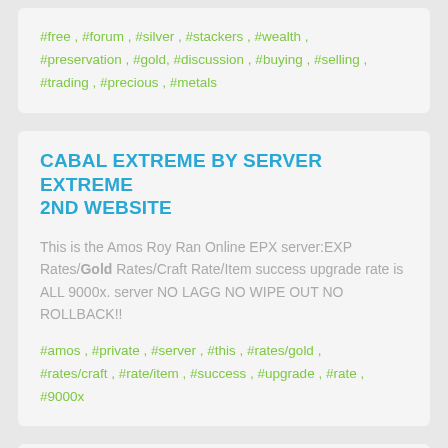#free , #forum , #silver , #stackers , #wealth , #preservation , #gold, #discussion , #buying , #selling , #trading , #precious , #metals
CABAL EXTREME BY SERVER EXTREME 2ND WEBSITE
This is the Amos Roy Ran Online EPX server:EXP Rates/Gold Rates/Craft Rate/Item success upgrade rate is ALL 9000x. server NO LAGG NO WIPE OUT NO ROLLBACK!!
#amos , #private , #server , #this , #rates/gold , #rates/craft , #rate/item , #success , #upgrade , #rate , #9000x
POKEMON COMPETITIVE FORUM : POKEMON ELITE